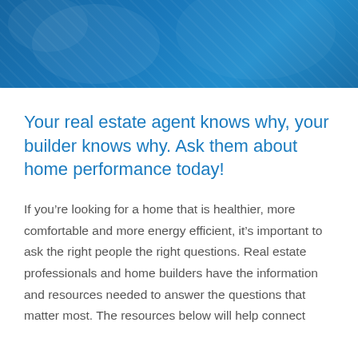[Figure (photo): Blue-tinted photo banner at the top of the page showing people, overlaid with a dark blue color wash]
Your real estate agent knows why, your builder knows why. Ask them about home performance today!
If you're looking for a home that is healthier, more comfortable and more energy efficient, it's important to ask the right people the right questions. Real estate professionals and home builders have the information and resources needed to answer the questions that matter most. The resources below will help connect